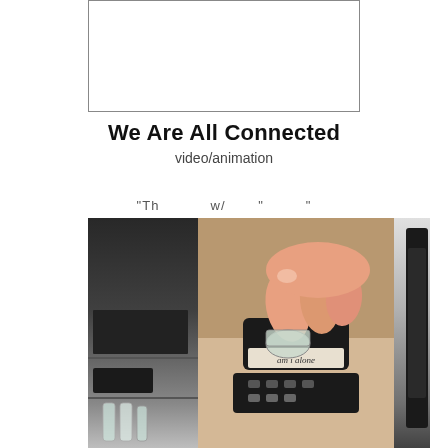[Figure (other): Empty white rectangle with border at top of page]
We Are All Connected
video/animation
"Th... ...w/... ..." ...
[Figure (photo): Close-up photo of fingers pressing a rubber stamp labeled 'am i alone' on a stamp pad, with stacked glass vials visible to the left and a dark device on the right.]